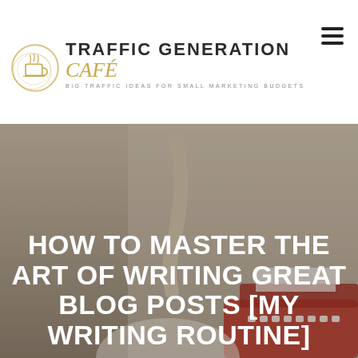TRAFFIC GENERATION Café — BIG TRAFFIC IDEAS FOR SMALL MARKETING BUDGETS
[Figure (photo): Woman in cream dress holding finger to lips, sitting at a red vintage typewriter, with overlaid white bold text reading: HOW TO MASTER THE ART OF WRITING GREAT BLOG POSTS [MY WRITING ROUTINE]]
HOW TO MASTER THE ART OF WRITING GREAT BLOG POSTS [MY WRITING ROUTINE]